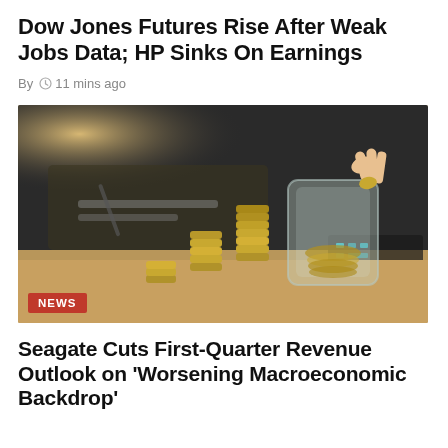Dow Jones Futures Rise After Weak Jobs Data; HP Sinks On Earnings
By  🕐 11 mins ago
[Figure (photo): A hand dropping a coin into a glass jar, with stacks of coins on a wooden table and a person writing in the background.]
NEWS
Seagate Cuts First-Quarter Revenue Outlook on 'Worsening Macroeconomic Backdrop'